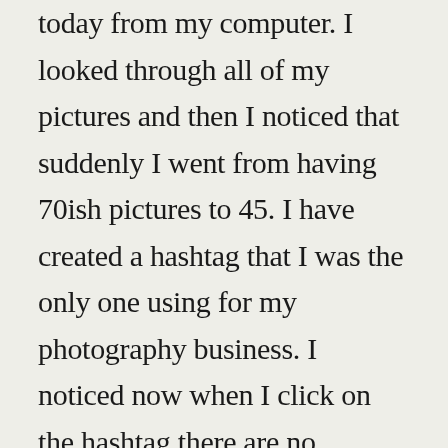today from my computer. I looked through all of my pictures and then I noticed that suddenly I went from having 70ish pictures to 45. I have created a hashtag that I was the only one using for my photography business. I noticed now when I click on the hashtag there are no pictures under the hashtag. I had friend try clicking on the hashtag and the same thing happened to her. She then unfollowed me and searched for me and was able to find me. I don't use many hashtags but always use the